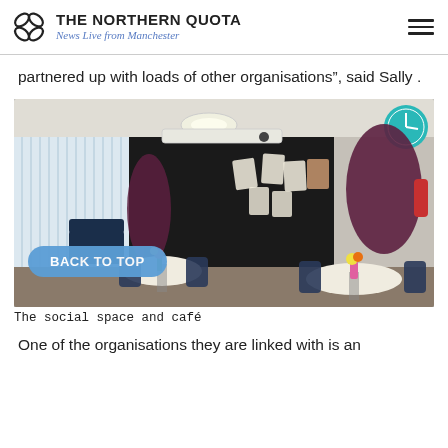THE NORTHERN QUOTA — News Live from Manchester
partnered up with loads of other organisations”, said Sally .
[Figure (photo): Interior photo of a social space and café with round tables, chairs, plants, a black chalkboard wall with posters, vertical blinds on windows, a round ceiling light, and a teal wall clock. A blue 'BACK TO TOP' button overlays the bottom-left of the image.]
The social space and café
One of the organisations they are linked with is an